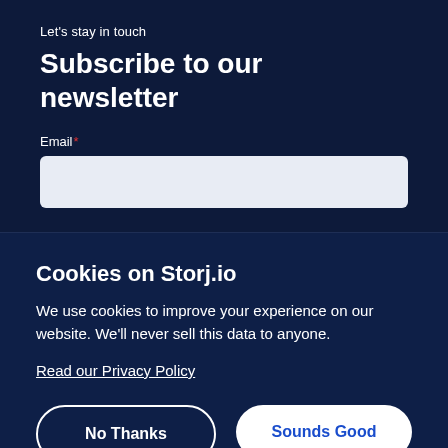Let's stay in touch
Subscribe to our newsletter
Email*
Cookies on Storj.io
We use cookies to improve your experience on our website. We'll never sell this data to anyone.
Read our Privacy Policy
No Thanks
Sounds Good